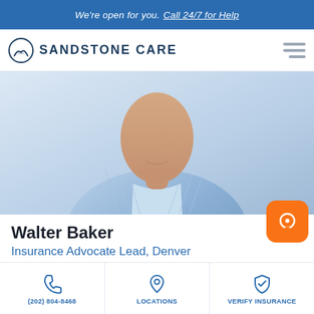We're open for you. Call 24/7 for Help
[Figure (logo): Sandstone Care logo with circular icon of mountains/hands and bold text SANDSTONE CARE]
[Figure (photo): Professional headshot of Walter Baker, a man in a light blue striped shirt, smiling, photographed from chest up]
Walter Baker
Insurance Advocate Lead, Denver
(202) 804-8468
LOCATIONS
VERIFY INSURANCE